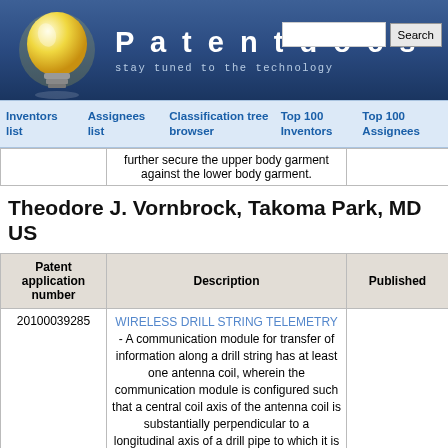Patentdocs - stay tuned to the technology
Inventors list  Assignees list  Classification tree browser  Top 100 Inventors  Top 100 Assignees
| Patent application number | Description | Published |
| --- | --- | --- |
|  | further secure the upper body garment against the lower body garment. |  |
Theodore J. Vornbrock, Takoma Park, MD US
| Patent application number | Description | Published |
| --- | --- | --- |
| 20100039285 | WIRELESS DRILL STRING TELEMETRY - A communication module for transfer of information along a drill string has at least one antenna coil, wherein the communication module is configured such that a central coil axis of the antenna coil is substantially perpendicular to a longitudinal axis of a drill pipe to which it is affixed. Signals are relayed magnetically from node to node to exchange data along any desired length of drill string. | 02-18-2010 |